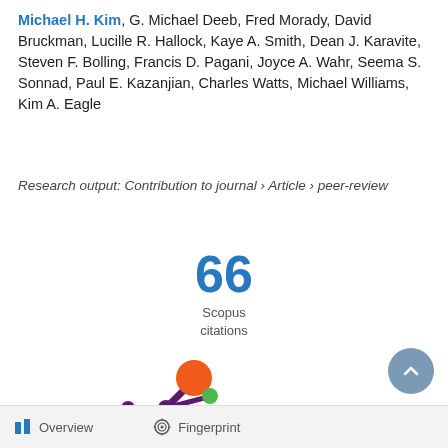Michael H. Kim, G. Michael Deeb, Fred Morady, David Bruckman, Lucille R. Hallock, Kaye A. Smith, Dean J. Karavite, Steven F. Bolling, Francis D. Pagani, Joyce A. Wahr, Seema S. Sonnad, Paul E. Kazanjian, Charles Watts, Michael Williams, Kim A. Eagle
Research output: Contribution to journal › Article › peer-review
66 Scopus citations
[Figure (logo): Fingerprint logo — stylized flower/splash shape with orange, green, and purple circles on dark purple stems]
Overview   Fingerprint